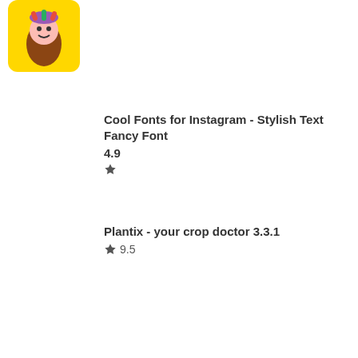[Figure (illustration): Colorful app icon with yellow background and cartoon character]
Cool Fonts for Instagram - Stylish Text Fancy Font
4.9 ★
Plantix - your crop doctor 3.3.1
★ 9.5
Drag Racing Bike
★
Web Browser & Explorer 3.3.2
★ 8.6